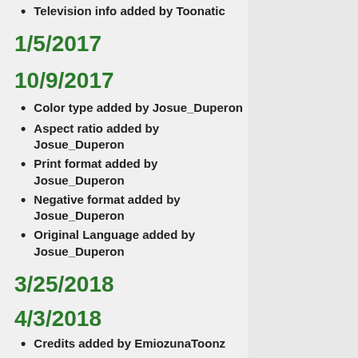Television info added by Toonatic
1/5/2017
10/9/2017
Color type added by Josue_Duperon
Aspect ratio added by Josue_Duperon
Print format added by Josue_Duperon
Negative format added by Josue_Duperon
Original Language added by Josue_Duperon
3/25/2018
4/3/2018
Credits added by EmiozunaToonz
5/13/2018